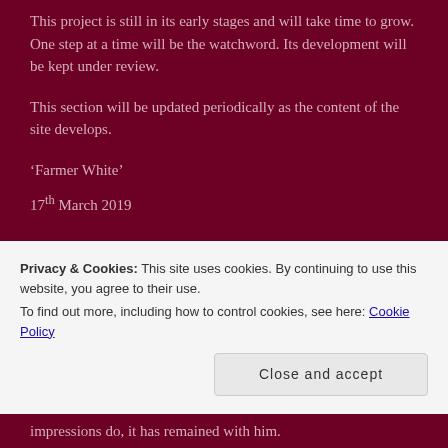This project is still in its early stages and will take time to grow.  One step at a time will be the watchword. Its development will be kept under review.
This section will be updated periodically as the content of the site develops.
‘Farmer White’
17th March 2019
‘FARMER WHITE’
‘Farmer White’, the author of this site, was brought up on the
Privacy & Cookies: This site uses cookies. By continuing to use this website, you agree to their use.
To find out more, including how to control cookies, see here: Cookie Policy
Close and accept
impressions do, it has remained with him.